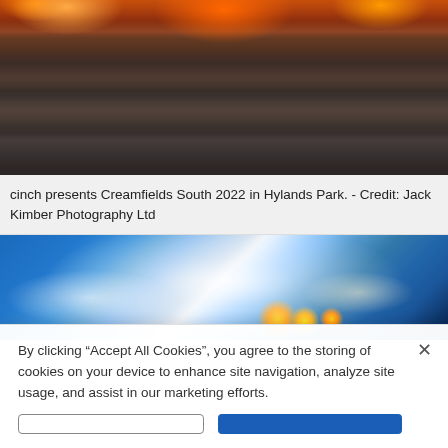[Figure (photo): Aerial view of a massive crowd at Creamfields South 2022 festival at Hylands Park, with a bright orange-lit stage visible at the top and thousands of festival-goers filling the frame]
cinch presents Creamfields South 2022 in Hylands Park. - Credit: Jack Kimber Photography Ltd
[Figure (photo): Festival stage photo with dramatic blue sky and clouds, bright stage lights (yellow/gold) visible at the bottom of the frame]
By clicking "Accept All Cookies", you agree to the storing of cookies on your device to enhance site navigation, analyze site usage, and assist in our marketing efforts.